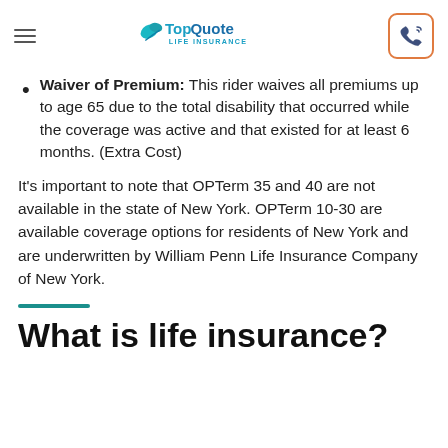TopQuote Life Insurance
Waiver of Premium: This rider waives all premiums up to age 65 due to the total disability that occurred while the coverage was active and that existed for at least 6 months. (Extra Cost)
It's important to note that OPTerm 35 and 40 are not available in the state of New York. OPTerm 10-30 are available coverage options for residents of New York and are underwritten by William Penn Life Insurance Company of New York.
What is life insurance?